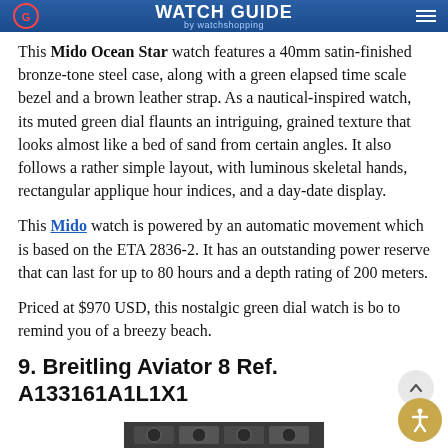WATCH GUIDE by watchshopping
This Mido Ocean Star watch features a 40mm satin-finished bronze-tone steel case, along with a green elapsed time scale bezel and a brown leather strap. As a nautical-inspired watch, its muted green dial flaunts an intriguing, grained texture that looks almost like a bed of sand from certain angles. It also follows a rather simple layout, with luminous skeletal hands, rectangular applique hour indices, and a day-date display.
This Mido watch is powered by an automatic movement which is based on the ETA 2836-2. It has an outstanding power reserve that can last for up to 80 hours and a depth rating of 200 meters.
Priced at $970 USD, this nostalgic green dial watch is bo to remind you of a breezy beach.
9. Breitling Aviator 8 Ref. A133161A1L1X1
[Figure (photo): Partial watch image strip at bottom of page]